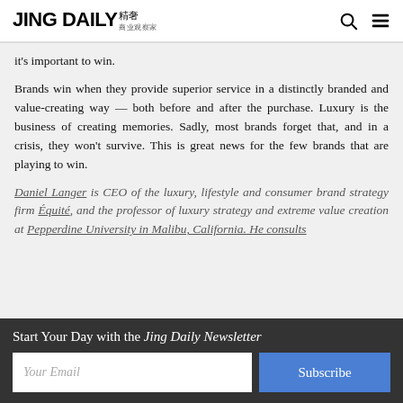JING DAILY 精奢
it's important to win.
Brands win when they provide superior service in a distinctly branded and value-creating way — both before and after the purchase. Luxury is the business of creating memories. Sadly, most brands forget that, and in a crisis, they won't survive. This is great news for the few brands that are playing to win.
Daniel Langer is CEO of the luxury, lifestyle and consumer brand strategy firm Équité, and the professor of luxury strategy and extreme value creation at Pepperdine University in Malibu, California. He consults
Start Your Day with the Jing Daily Newsletter
Your Email
Subscribe